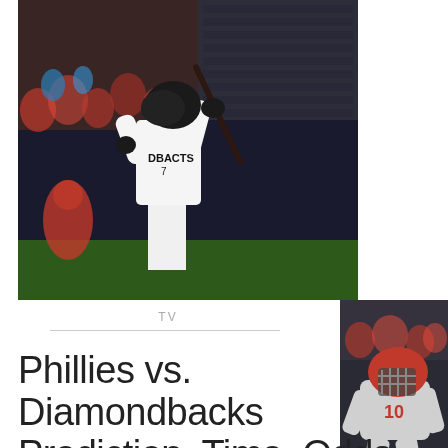[Figure (photo): Arizona Diamondbacks batter in white and black uniform with 'DBACKS 7' on jersey, mid-swing at bat in a baseball stadium with fans in background]
[Figure (photo): Philadelphia Phillies catcher in red and grey uniform crouching in catcher's stance behind home plate]
TV
Phillies vs. Diamondbacks Prediction, Time, Odds,